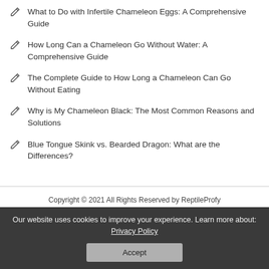What to Do with Infertile Chameleon Eggs: A Comprehensive Guide
How Long Can a Chameleon Go Without Water: A Comprehensive Guide
The Complete Guide to How Long a Chameleon Can Go Without Eating
Why is My Chameleon Black: The Most Common Reasons and Solutions
Blue Tongue Skink vs. Bearded Dragon: What are the Differences?
Copyright © 2021 All Rights Reserved by ReptileProfy
Our website uses cookies to improve your experience. Learn more about: Privacy Policy
Accept